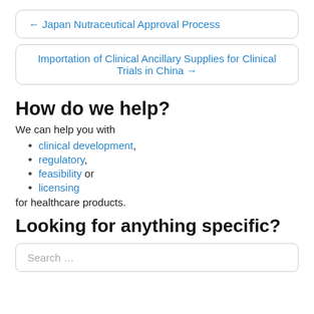← Japan Nutraceutical Approval Process
Importation of Clinical Ancillary Supplies for Clinical Trials in China →
How do we help?
We can help you with
clinical development,
regulatory,
feasibility or
licensing
for healthcare products.
Looking for anything specific?
Search …